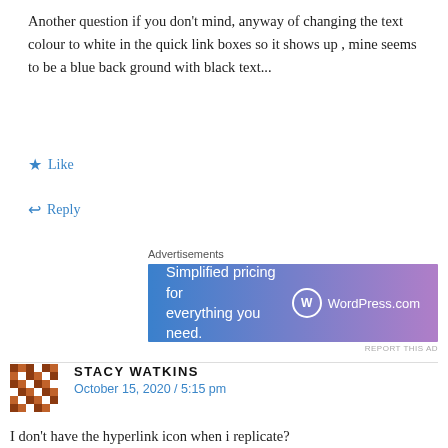Another question if you don't mind, anyway of changing the text colour to white in the quick link boxes so it shows up , mine seems to be a blue back ground with black text...
Like
Reply
[Figure (screenshot): WordPress.com advertisement banner with gradient blue-purple background, white text 'Simplified pricing for everything you need.' and WordPress.com logo]
STACY WATKINS
October 15, 2020 / 5:15 pm
I don't have the hyperlink icon when i replicate?
Like